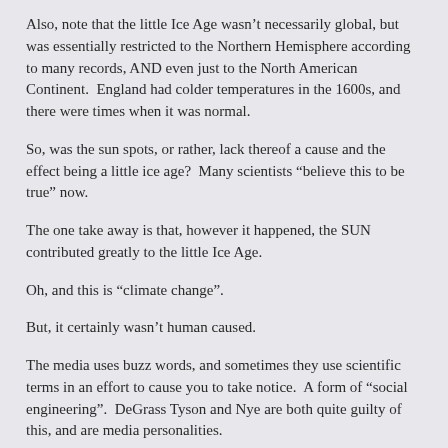Also, note that the little Ice Age wasn't necessarily global, but was essentially restricted to the Northern Hemisphere according to many records, AND even just to the North American Continent. England had colder temperatures in the 1600s, and there were times when it was normal.
So, was the sun spots, or rather, lack thereof a cause and the effect being a little ice age? Many scientists “believe this to be true” now.
The one take away is that, however it happened, the SUN contributed greatly to the little Ice Age.
Oh, and this is “climate change”.
But, it certainly wasn’t human caused.
The media uses buzz words, and sometimes they use scientific terms in an effort to cause you to take notice. A form of “social engineering”. DeGrass Tyson and Nye are both quite guilty of this, and are media personalities.